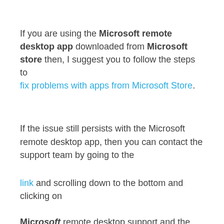If you are using the Microsoft remote desktop app downloaded from Microsoft store then, I suggest you to follow the steps to fix problems with apps from Microsoft Store.
If the issue still persists with the Microsoft remote desktop app, then you can contact the support team by going to the
link and scrolling down to the bottom and clicking on Microsoft remote desktop support and the